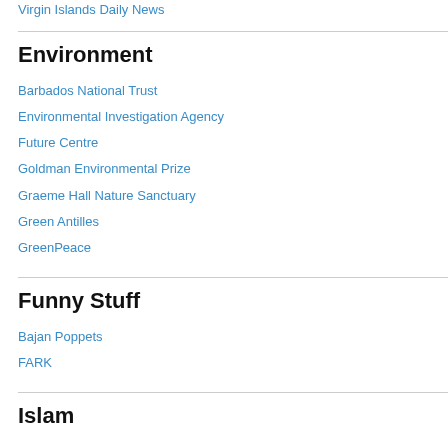Virgin Islands Daily News
Environment
Barbados National Trust
Environmental Investigation Agency
Future Centre
Goldman Environmental Prize
Graeme Hall Nature Sanctuary
Green Antilles
GreenPeace
Funny Stuff
Bajan Poppets
FARK
Islam